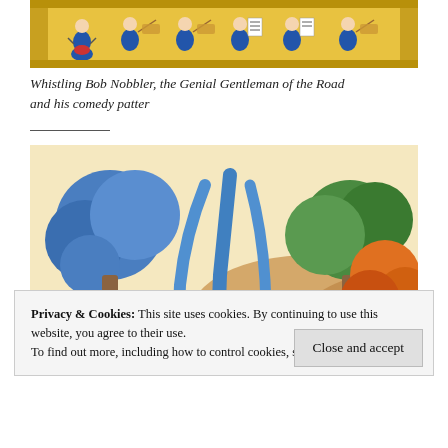[Figure (illustration): Colorful illustrated banner showing musicians in blue suits playing instruments (violin, drums) with golden decorative border on yellow/orange background]
Whistling Bob Nobbler, the Genial Gentleman of the Road and his comedy patter
[Figure (illustration): Colorful folk-art style painting of a garden/nature scene with blue trees, a waterfall, sunflowers, and a small figure wearing a white hat standing in the center]
Privacy & Cookies: This site uses cookies. By continuing to use this website, you agree to their use.
To find out more, including how to control cookies, see here: Cookie Policy